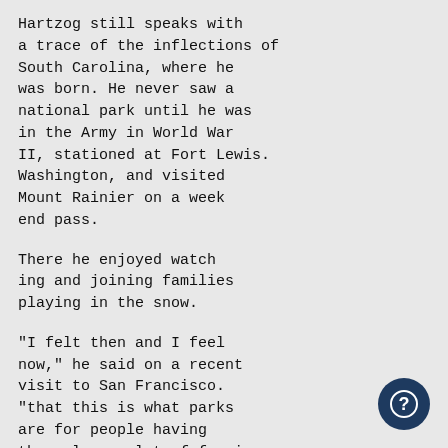Hartzog still speaks with a trace of the inflections of South Carolina, where he was born. He never saw a national park until he was in the Army in World War II, stationed at Fort Lewis. Washington, and visited Mount Rainier on a week end pass.
There he enjoyed watching and joining families playing in the snow.
"I felt then and I feel now," he said on a recent visit to San Francisco. "that this is what parks are for people having themselves a lot of fun in the outdoors.
"I m not afi.-iid that peo